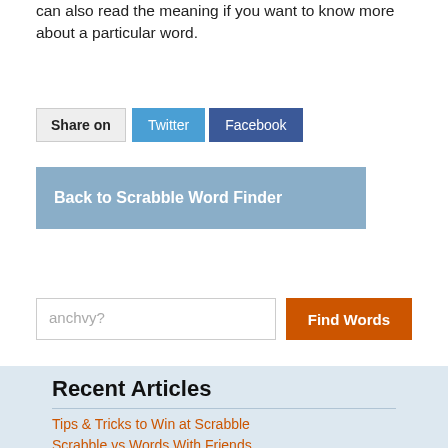can also read the meaning if you want to know more about a particular word.
Share on  Twitter  Facebook
Back to Scrabble Word Finder
anchvy?
Find Words
Recent Articles
Tips & Tricks to Win at Scrabble
Scrabble vs Words With Friends
Words With Friends - Rules & Tips